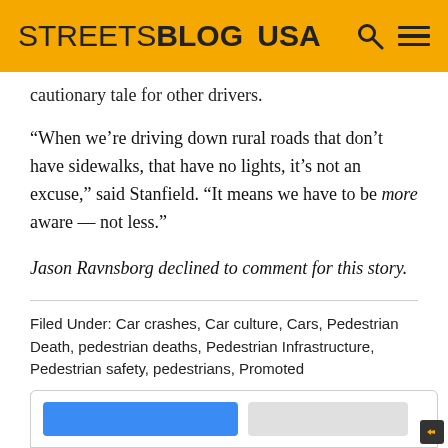STREETSBLOG USA
cautionary tale for other drivers.
“When we’re driving down rural roads that don’t have sidewalks, that have no lights, it’s not an excuse,” said Stanfield. “It means we have to be more aware — not less.”
Jason Ravnsborg declined to comment for this story.
Filed Under: Car crashes, Car culture, Cars, Pedestrian Death, pedestrian deaths, Pedestrian Infrastructure, Pedestrian safety, pedestrians, Promoted